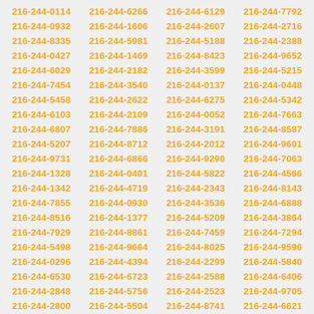216-244-0114 216-244-6266 216-244-6129 216-244-7792 216-244-0932 216-244-1606 216-244-2607 216-244-2716 216-244-8335 216-244-5981 216-244-5188 216-244-2388 216-244-0427 216-244-1469 216-244-8423 216-244-9652 216-244-6029 216-244-2182 216-244-3599 216-244-5215 216-244-7454 216-244-3540 216-244-0137 216-244-0448 216-244-5458 216-244-2622 216-244-6275 216-244-5342 216-244-6103 216-244-2109 216-244-0052 216-244-7663 216-244-6807 216-244-7886 216-244-3191 216-244-8587 216-244-5207 216-244-8712 216-244-2012 216-244-9601 216-244-9731 216-244-6866 216-244-9290 216-244-7063 216-244-1328 216-244-0401 216-244-5822 216-244-4566 216-244-1342 216-244-4719 216-244-2343 216-244-8143 216-244-7855 216-244-0930 216-244-3536 216-244-6888 216-244-8516 216-244-1377 216-244-5209 216-244-3864 216-244-7929 216-244-8861 216-244-7459 216-244-7294 216-244-5498 216-244-9664 216-244-8025 216-244-9596 216-244-0296 216-244-4394 216-244-2299 216-244-5840 216-244-6530 216-244-6723 216-244-2588 216-244-6406 216-244-2848 216-244-5756 216-244-2523 216-244-9705 216-244-2800 216-244-5504 216-244-8741 216-244-6621 216-244-5807 216-244-3865 216-244-1648 216-244-3682 216-244-7911 216-244-0940 216-244-7839 216-244-3365 216-244-9464 216-244-9815 216-244-2033 216-244-9923 216-244-3992 216-244-5123 216-244-5950 216-244-2691 216-244-2146 216-244-7368 216-244-5146 216-244-5546 216-244-9031 216-244-7271 216-244-4925 216-244-4928 216-244-1810 216-244-3578 216-244-1403 216-244-3918 216-244-7117 216-244-1345 216-244-8717 216-244-1816 216-244-3738 216-244-8484 216-244-4206 216-244-9310